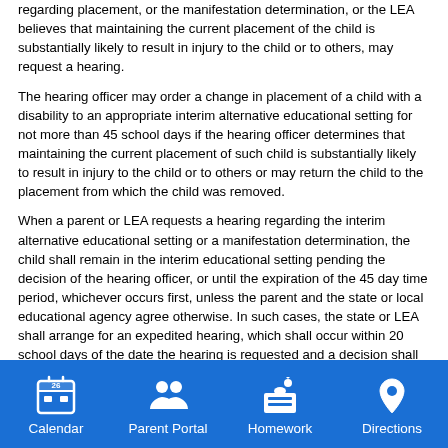regarding placement, or the manifestation determination, or the LEA believes that maintaining the current placement of the child is substantially likely to result in injury to the child or to others, may request a hearing.
The hearing officer may order a change in placement of a child with a disability to an appropriate interim alternative educational setting for not more than 45 school days if the hearing officer determines that maintaining the current placement of such child is substantially likely to result in injury to the child or to others or may return the child to the placement from which the child was removed.
When a parent or LEA requests a hearing regarding the interim alternative educational setting or a manifestation determination, the child shall remain in the interim educational setting pending the decision of the hearing officer, or until the expiration of the 45 day time period, whichever occurs first, unless the parent and the state or local educational agency agree otherwise. In such cases, the state or LEA shall arrange for an expedited hearing, which shall occur within 20 school days of the date the hearing is requested and a decision shall be made within 10 school days after the hearing.
Protections for Children Not Yet Eligible for Special Education and Related Services
A child who has not been determined to be eligible for special education and related services under the IDEA, and who has engaged in behavior
Calendar | Parent Portal | Homework | Directions